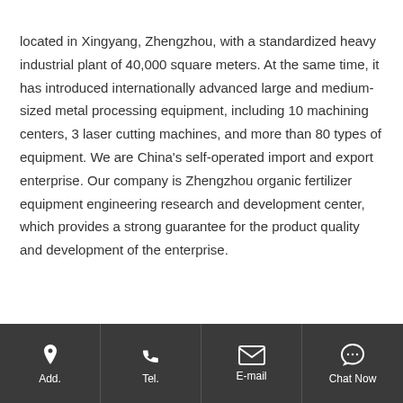located in Xingyang, Zhengzhou, with a standardized heavy industrial plant of 40,000 square meters. At the same time, it has introduced internationally advanced large and medium-sized metal processing equipment, including 10 machining centers, 3 laser cutting machines, and more than 80 types of equipment. We are China's self-operated import and export enterprise. Our company is Zhengzhou organic fertilizer equipment engineering research and development center, which provides a strong guarantee for the product quality and development of the enterprise.
Add. | Tel. | E-mail | Chat Now